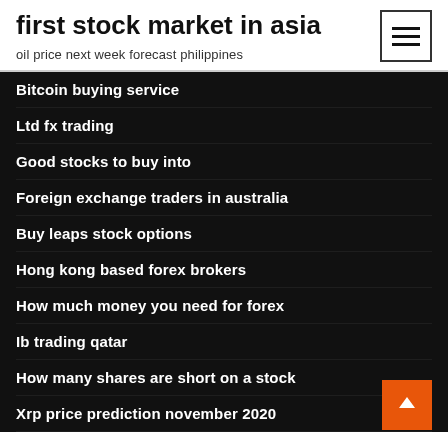first stock market in asia
oil price next week forecast philippines
Bitcoin buying service
Ltd fx trading
Good stocks to buy into
Foreign exchange traders in australia
Buy leaps stock options
Hong kong based forex brokers
How much money you need for forex
Ib trading qatar
How many shares are short on a stock
Xrp price prediction november 2020